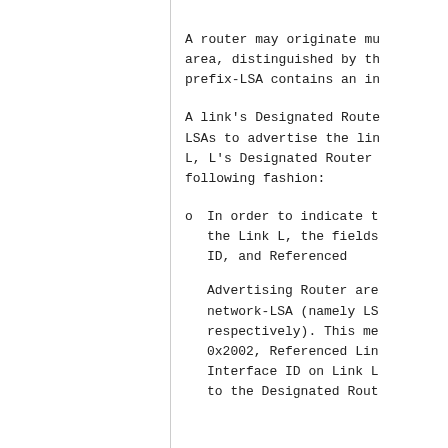A router may originate mul area, distinguished by the prefix-LSA contains an int
A link's Designated Router LSAs to advertise the link L, L's Designated Router b following fashion:
o  In order to indicate th the Link L, the fields ID, and Referenced
Advertising Router are network-LSA (namely LS respectively). This mea 0x2002, Referenced Link Interface ID on Link L, to the Designated Route